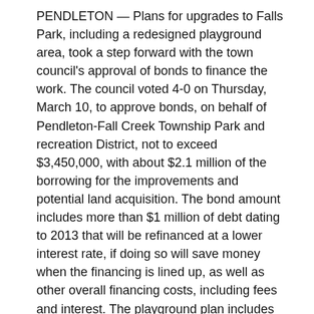PENDLETON — Plans for upgrades to Falls Park, including a redesigned playground area, took a step forward with the town council's approval of bonds to finance the work. The council voted 4-0 on Thursday, March 10, to approve bonds, on behalf of Pendleton-Fall Creek Township Park and recreation District, not to exceed $3,450,000, with about $2.1 million of the borrowing for the improvements and potential land acquisition. The bond amount includes more than $1 million of debt dating to 2013 that will be refinanced at a lower interest rate, if doing so will save money when the financing is lined up, as well as other overall financing costs, including fees and interest. The playground plan includes play areas for certain age groups/ability levels, such as ages 2-5/lower ability and ages 5-12/upper ability. It also includes picnic and storytime areas, as well as a range of equipment, including slides and climbing structures.